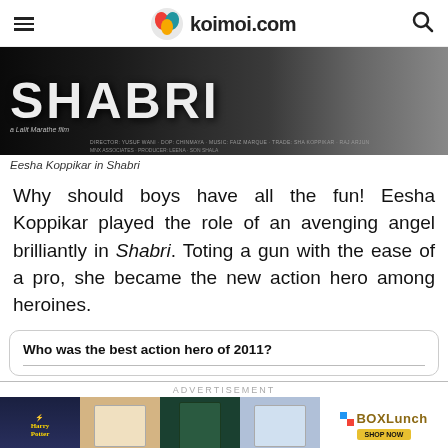koimoi.com
[Figure (photo): Movie banner for Shabri film with large title text and credits. A Lalit Marathe film.]
Eesha Koppikar in Shabri
Why should boys have all the fun! Eesha Koppikar played the role of an avenging angel brilliantly in Shabri. Toting a gun with the ease of a pro, she became the new action hero among heroines.
Who was the best action hero of 2011?
[Figure (photo): Advertisement banner - ADVERTISEMENT label with BoxLunch ad showing Harry Potter, stationery, and Slytherin merchandise images.]